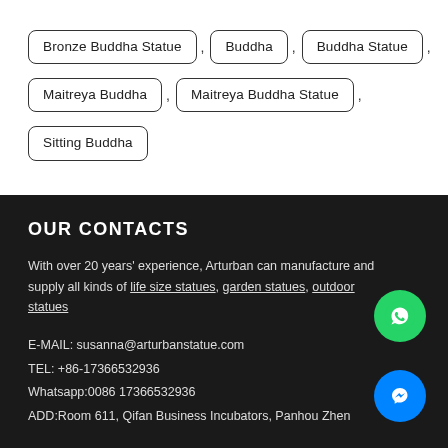Bronze Buddha Statue
Buddha
Buddha Statue
Maitreya Buddha
Maitreya Buddha Statue
Sitting Buddha
OUR CONTACTS
With over 20 years' experience, Arturban can manufacture and supply all kinds of life size statues, garden statues, outdoor statues
E-MAIL: susanna@arturbanstatue.com
TEL: +86-17366532936
Whatsapp:0086 17366532936
ADD:Room 611, Qifan Business Incubators, Panhou Zhen